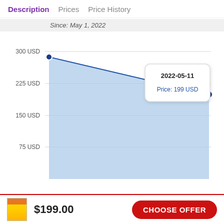Description   Prices   Price History
Since: May 1, 2022
[Figure (area-chart): Price History]
2022-05-11
Price: 199 USD
$199.00
CHOOSE OFFER